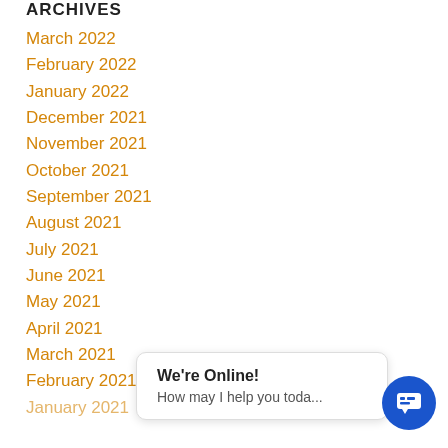ARCHIVES
March 2022
February 2022
January 2022
December 2021
November 2021
October 2021
September 2021
August 2021
July 2021
June 2021
May 2021
April 2021
March 2021
February 2021
January 2021
We're Online!
How may I help you toda...